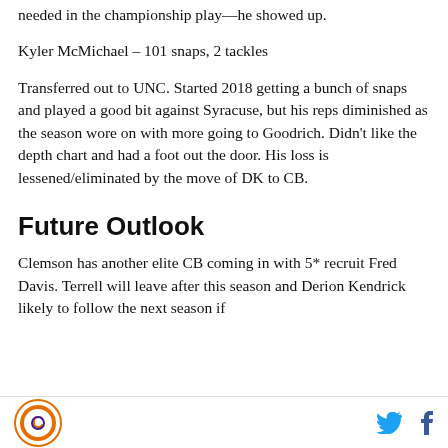needed in the championship play—he showed up.
Kyler McMichael – 101 snaps, 2 tackles
Transferred out to UNC. Started 2018 getting a bunch of snaps and played a good bit against Syracuse, but his reps diminished as the season wore on with more going to Goodrich. Didn't like the depth chart and had a foot out the door. His loss is lessened/eliminated by the move of DK to CB.
Future Outlook
Clemson has another elite CB coming in with 5* recruit Fred Davis. Terrell will leave after this season and Derion Kendrick likely to follow the next season if
Logo and social icons